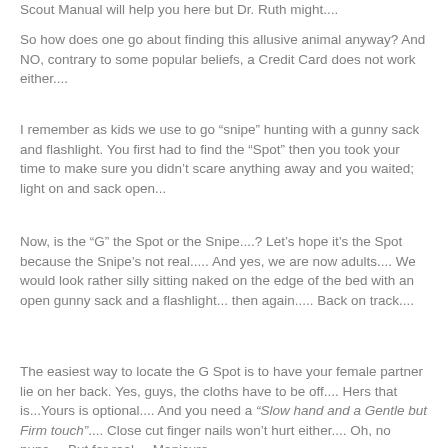Scout Manual will help you here but Dr. Ruth might....
So how does one go about finding this allusive animal anyway? And NO, contrary to some popular beliefs, a Credit Card does not work either....
I remember as kids we use to go “snipe” hunting with a gunny sack and flashlight. You first had to find the “Spot” then you took your time to make sure you didn’t scare anything away and you waited; light on and sack open...
Now, is the “G” the Spot or the Snipe....? Let’s hope it’s the Spot because the Snipe’s not real..... And yes, we are now adults.... We would look rather silly sitting naked on the edge of the bed with an open gunny sack and a flashlight... then again..... Back on track....
The easiest way to locate the G Spot is to have your female partner lie on her back. Yes, guys, the cloths have to be off.... Hers that is...Yours is optional.... And you need a “Slow hand and a Gentle but Firm touch”.... Close cut finger nails won’t hurt either.... Oh, no puns.... But for real.... Manicure